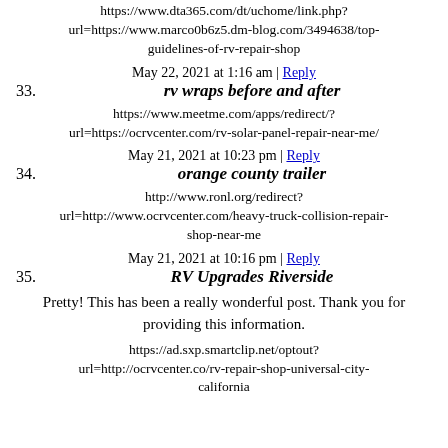https://www.dta365.com/dt/uchome/link.php?url=https://www.marco0b6z5.dm-blog.com/3494638/top-guidelines-of-rv-repair-shop
33. rv wraps before and after
May 22, 2021 at 1:16 am | Reply
https://www.meetme.com/apps/redirect/?url=https://ocrvcenter.com/rv-solar-panel-repair-near-me/
34. orange county trailer
May 21, 2021 at 10:23 pm | Reply
http://www.ronl.org/redirect?url=http://www.ocrvcenter.com/heavy-truck-collision-repair-shop-near-me
35. RV Upgrades Riverside
May 21, 2021 at 10:16 pm | Reply
Pretty! This has been a really wonderful post. Thank you for providing this information.
https://ad.sxp.smartclip.net/optout?url=http://ocrvcenter.co/rv-repair-shop-universal-city-california